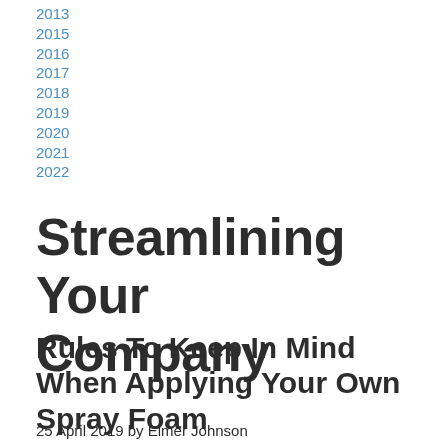2013
2015
2016
2017
2018
2019
2020
2021
2022
Streamlining Your Company
Rules To Keep In Mind When Applying Your Own Spray Foam
25 April 2019 by Elmer Johnson